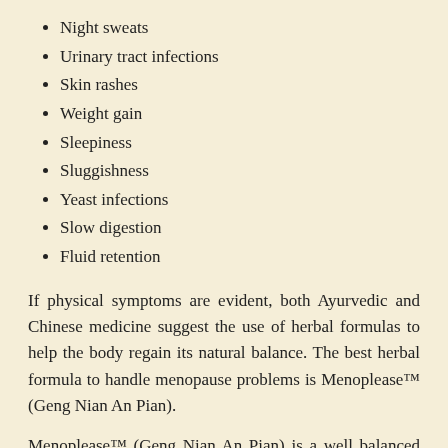Night sweats
Urinary tract infections
Skin rashes
Weight gain
Sleepiness
Sluggishness
Yeast infections
Slow digestion
Fluid retention
If physical symptoms are evident, both Ayurvedic and Chinese medicine suggest the use of herbal formulas to help the body regain its natural balance. The best herbal formula to handle menopause problems is Menoplease™ (Geng Nian An Pian).
Menoplease™ (Geng Nian An Pian) is a well balanced formula containing the chief herbs, which address the main symptoms, and supporting herbs, which support the primary function of the chief herbs. There is also a group of assisting